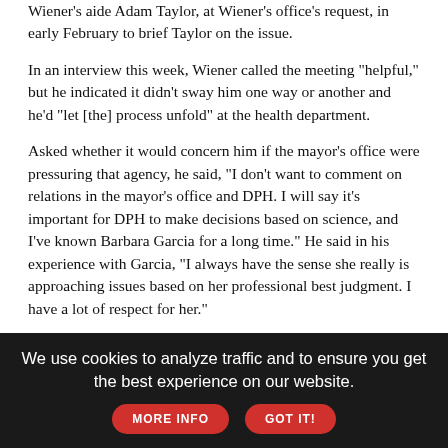Wiener's aide Adam Taylor, at Wiener's office's request, in early February to brief Taylor on the issue.
In an interview this week, Wiener called the meeting "helpful," but he indicated it didn't sway him one way or another and he'd "let [the] process unfold" at the health department.
Asked whether it would concern him if the mayor's office were pressuring that agency, he said, "I don't want to comment on relations in the mayor's office and DPH. I will say it's important for DPH to make decisions based on science, and I've known Barbara Garcia for a long time." He said in his experience with Garcia, "I always have the sense she really is approaching issues based on her professional best judgment. I have a lot of respect for her."
Going Ahead Anyway
It may not matter much what city officials think of the idea of distributing crack pipes. At least one organization is planning to hand them out anyway.
We use cookies to analyze traffic and to ensure you get the best experience on our website.